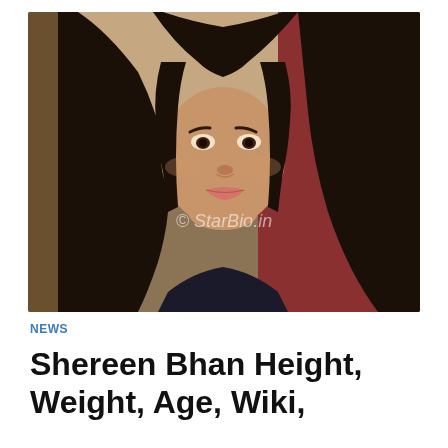[Figure (photo): Portrait photo of a young woman with long dark hair, smiling slightly, wearing a dark top. Background shows a red and beige/brown setting. Watermark text 'StarBio.in' visible in the center of the image.]
NEWS
Shereen Bhan Height, Weight, Age, Wiki,